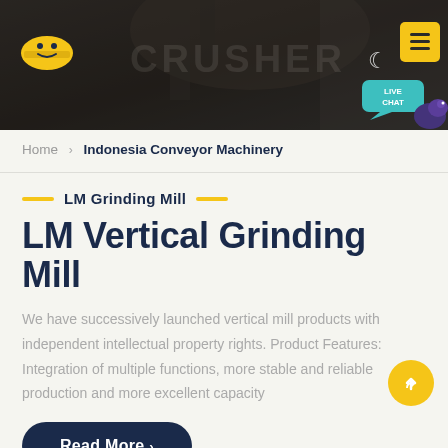[Figure (screenshot): Website header banner with dark industrial machinery background, company logo (hard hat icon) on left, moon icon and yellow search button on right, teal live chat bubble in lower right corner]
Home › Indonesia Conveyor Machinery
LM Grinding Mill
LM Vertical Grinding Mill
We have successively launched vertical mill products with independent intellectual property rights. Product Features: Integration of multiple functions, more stable and reliable production and more excellent capacity
Read More ›